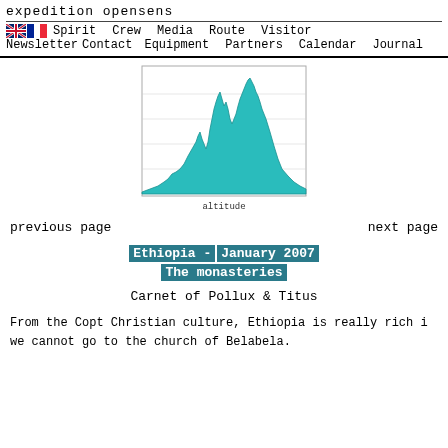expedition opensens
Spirit  Crew  Media  Route  Visitor
Newsletter  Contact  Equipment  Partners  Calendar  Journal
[Figure (area-chart): Area chart showing altitude profile with cyan/teal shaded area, multiple peaks, with label 'altitude' at bottom]
previous page    next page
Ethiopia - January 2007
The monasteries
Carnet of Pollux & Titus
From the Copt Christian culture, Ethiopia is really rich i we cannot go to the church of Belabela.